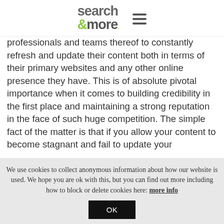search &more [logo] ☰
professionals and teams thereof to constantly refresh and update their content both in terms of their primary websites and any other online presence they have. This is of absolute pivotal importance when it comes to building credibility in the first place and maintaining a strong reputation in the face of such huge competition. The simple fact of the matter is that if you allow your content to become stagnant and fail to update your
We use cookies to collect anonymous information about how our website is used. We hope you are ok with this, but you can find out more including how to block or delete cookies here: more info
OK